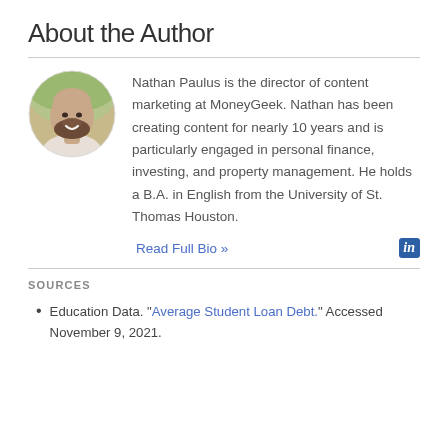About the Author
[Figure (photo): Circular portrait photo of Nathan Paulus, a bald man with a dark beard, smiling, outdoors blurred background]
Nathan Paulus is the director of content marketing at MoneyGeek. Nathan has been creating content for nearly 10 years and is particularly engaged in personal finance, investing, and property management. He holds a B.A. in English from the University of St. Thomas Houston.
Read Full Bio »
SOURCES
Education Data. "Average Student Loan Debt." Accessed November 9, 2021.